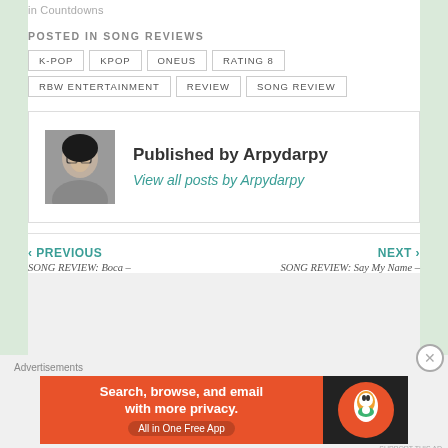in Countdowns
POSTED IN SONG REVIEWS
K-POP
KPOP
ONEUS
RATING 8
RBW ENTERTAINMENT
REVIEW
SONG REVIEW
Published by Arpydarpy
View all posts by Arpydarpy
‹ PREVIOUS
SONG REVIEW: Boca –
NEXT ›
SONG REVIEW: Say My Name –
Advertisements
[Figure (screenshot): DuckDuckGo advertisement banner: orange background with text 'Search, browse, and email with more privacy. All in One Free App' and DuckDuckGo logo on dark right side]